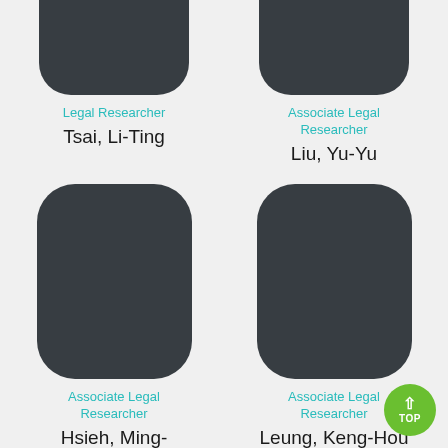[Figure (photo): Profile photo placeholder (dark rounded rectangle, top portion) for Tsai, Li-Ting]
Legal Researcher
Tsai, Li-Ting
[Figure (photo): Profile photo placeholder (dark rounded rectangle, top portion) for Liu, Yu-Yu]
Associate Legal Researcher
Liu, Yu-Yu
[Figure (photo): Profile photo placeholder (dark rounded rectangle) for Hsieh, Ming-Chun]
Associate Legal Researcher
Hsieh, Ming-Chun
[Figure (photo): Profile photo placeholder (dark rounded rectangle) for Leung, Keng-Hou]
Associate Legal Researcher
Leung, Keng-Hou